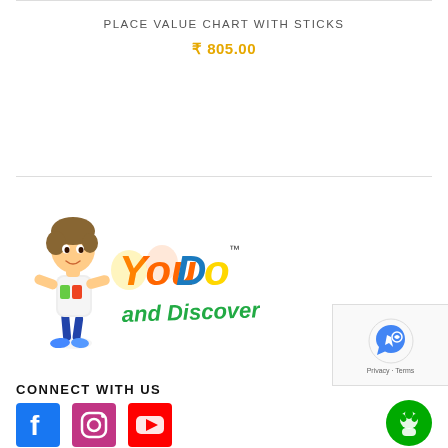PLACE VALUE CHART WITH STICKS
₹ 805.00
[Figure (logo): YouDo and Discover logo with animated boy character]
[Figure (other): reCAPTCHA widget with privacy and terms links]
CONNECT WITH US
[Figure (other): Social media icons: Facebook, Instagram, YouTube]
[Figure (other): Green chat/support button]